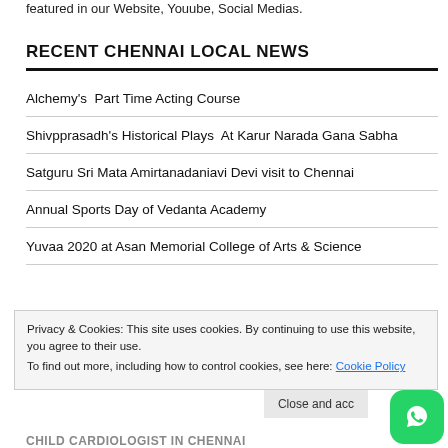featured in our Website, Youube, Social Medias.
RECENT CHENNAI LOCAL NEWS
Alchemy's  Part Time Acting Course
Shivpprasadh's Historical Plays  At Karur Narada Gana Sabha
Satguru Sri Mata Amirtanadaniavi Devi visit to Chennai
Annual Sports Day of Vedanta Academy
Yuvaa 2020 at Asan Memorial College of Arts & Science
Privacy & Cookies: This site uses cookies. By continuing to use this website, you agree to their use. To find out more, including how to control cookies, see here: Cookie Policy
Close and accept
CHILD CARDIOLOGIST IN CHENNAI